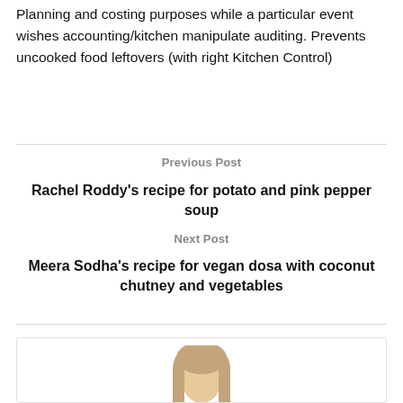Planning and costing purposes while a particular event wishes accounting/kitchen manipulate auditing. Prevents uncooked food leftovers (with right Kitchen Control)
Previous Post
Rachel Roddy's recipe for potato and pink pepper soup
Next Post
Meera Sodha's recipe for vegan dosa with coconut chutney and vegetables
[Figure (photo): Partial photo of a person's head and hair at the bottom of the page inside a bordered box]